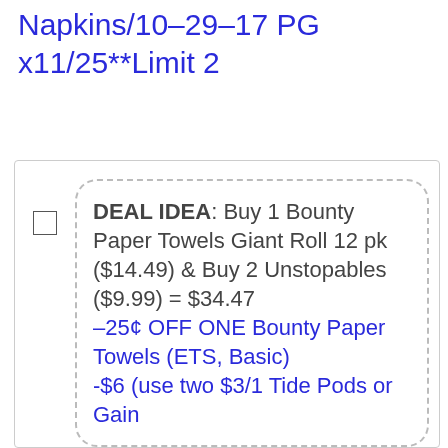Napkins/10-29-17 PG x11/25**Limit 2
DEAL IDEA: Buy 1 Bounty Paper Towels Giant Roll 12 pk ($14.49) & Buy 2 Unstopables ($9.99) = $34.47 –25¢ OFF ONE Bounty Paper Towels (ETS, Basic) -$6 (use two $3/1 Tide Pods or Gain